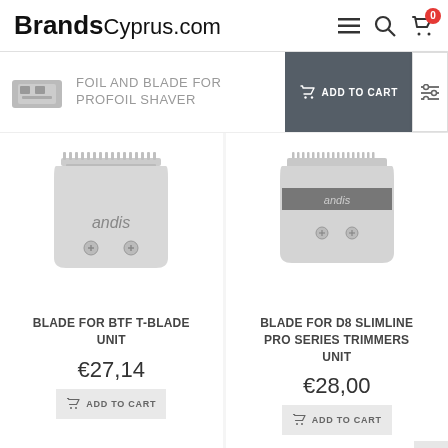BrandsCyprus.com
FOIL AND BLADE FOR PROFOIL SHAVER
ADD TO CART
BLADE FOR BTF T-BLADE UNIT
€27,14
ADD TO CART
BLADE FOR D8 SLIMLINE PRO SERIES TRIMMERS UNIT
€28,00
ADD TO CART